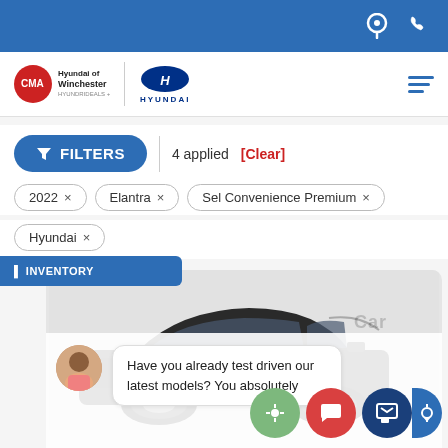Navigation bar with location and phone icons
[Figure (logo): CMA Hyundai of Winchester logo with Hyundai brand logo]
FILTERS | 4 applied [Clear]
2022 ×
Elantra ×
Sel Convenience Premium ×
Hyundai ×
[Figure (photo): Black Hyundai SUV (Santa Fe) displayed against a light gray background]
Have you already test driven our latest models? You absolutely